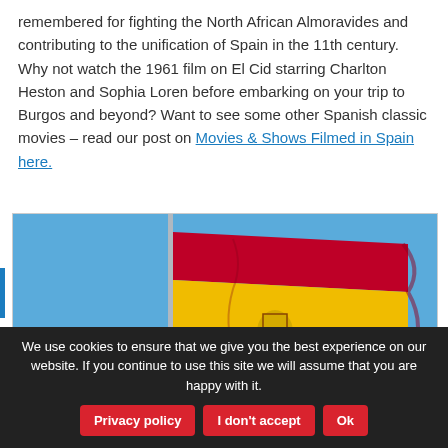remembered for fighting the North African Almoravides and contributing to the unification of Spain in the 11th century. Why not watch the 1961 film on El Cid starring Charlton Heston and Sophia Loren before embarking on your trip to Burgos and beyond? Want to see some other Spanish classic movies – read our post on Movies & Shows Filmed in Spain here.
[Figure (photo): Photo of the Spanish flag waving on a flagpole against a clear blue sky.]
We use cookies to ensure that we give you the best experience on our website. If you continue to use this site we will assume that you are happy with it.